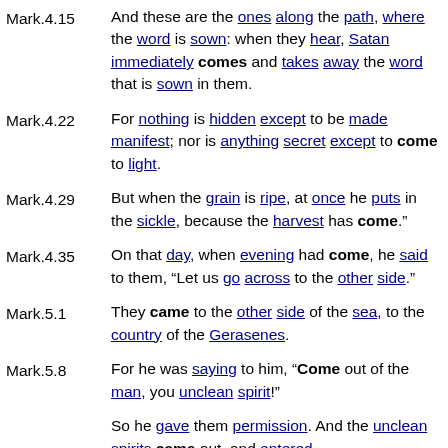Mark.4.15 — And these are the ones along the path, where the word is sown: when they hear, Satan immediately comes and takes away the word that is sown in them.
Mark.4.22 — For nothing is hidden except to be made manifest; nor is anything secret except to come to light.
Mark.4.29 — But when the grain is ripe, at once he puts in the sickle, because the harvest has come.
Mark.4.35 — On that day, when evening had come, he said to them, “Let us go across to the other side.”
Mark.5.1 — They came to the other side of the sea, to the country of the Gerasenes.
Mark.5.8 — For he was saying to him, “Come out of the man, you unclean spirit!”
So he gave them permission. And the unclean spirits came out, and entered the swine; and the herd, numbering about two thousand, rushed down the steep bank...